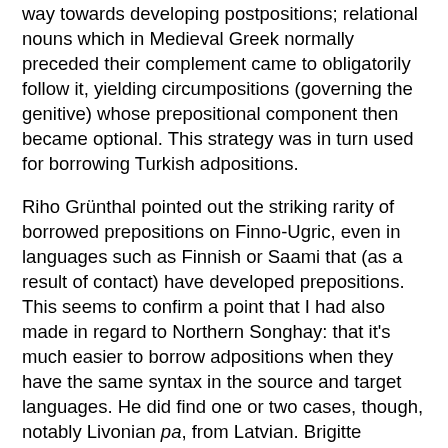way towards developing postpositions; relational nouns which in Medieval Greek normally preceded their complement came to obligatorily follow it, yielding circumpositions (governing the genitive) whose prepositional component then became optional. This strategy was in turn used for borrowing Turkish adpositions.
Riho Grünthal pointed out the striking rarity of borrowed prepositions on Finno-Ugric, even in languages such as Finnish or Saami that (as a result of contact) have developed prepositions. This seems to confirm a point that I had also made in regard to Northern Songhay: that it's much easier to borrow adpositions when they have the same syntax in the source and target languages. He did find one or two cases, though, notably Livonian pa, from Latvian. Brigitte Pakendorf showed that Even borrows a fair number of Yakut postpositions (with varying degrees of acceptance among speakers), but no Russian prepositions, which at first sight seems to confirm the role of congruence even more. However, it's also true that Yakut has influenced Even much longer than Russian has.
Edith Moravcsik herself finally gave a summing-up address